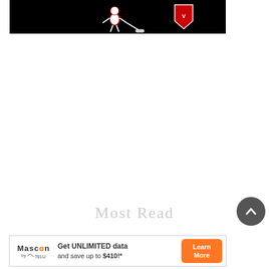[Figure (illustration): Black background image with cartoon characters/figures including what appears to be a hockey or sports themed graphic with a player figure and a red/white logo or shield on the right]
Most Read
[Figure (other): Circular dark grey back-to-top button with an upward-pointing chevron arrow in white]
[Figure (other): Advertisement banner for Mascon by TELUS: Get UNLIMITED data and save up to $410!* with a Learn More button]